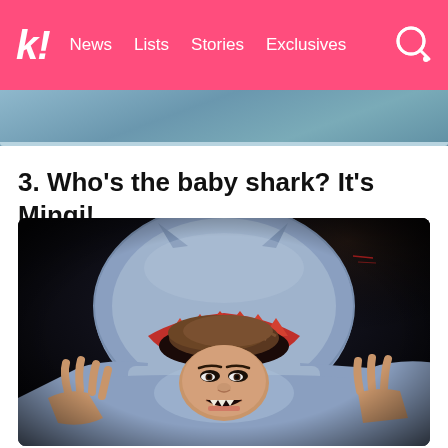k! News Lists Stories Exclusives
[Figure (photo): Partial view of a previous image (top of page, partially cut off)]
3. Who’s the baby shark? It’s Mingi!
[Figure (photo): Photo of Mingi (ATEEZ member) wearing a blue shark hoodie/costume with red teeth detail around the opening, making a fierce expression against a dark background]